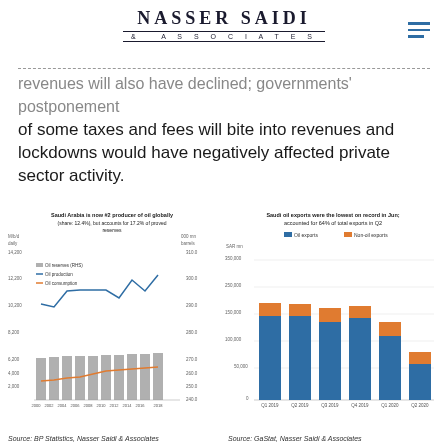NASSER SAIDI & ASSOCIATES
revenues will also have declined; governments' postponement of some taxes and fees will bite into revenues and lockdowns would have negatively affected private sector activity.
[Figure (bar-chart): Saudi Arabia is now #2 producer of oil globally (share: 12.4%), but accounts for 17.2% of proved reserves]
Source: BP Statistics, Nasser Saidi & Associates
[Figure (stacked-bar-chart): Saudi oil exports were the lowest on record in Jun; accounted for 64% of total exports in Q2]
Source: GaStat, Nasser Saidi & Associates